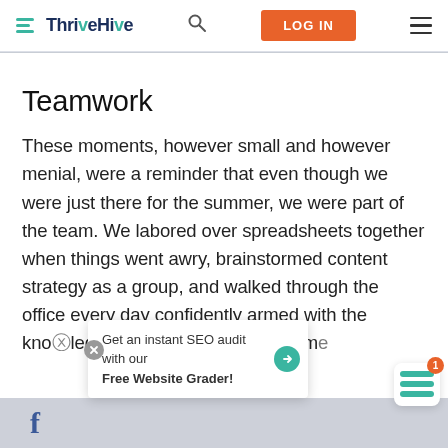ThriveHive — navigation bar with logo, search, LOG IN button, and hamburger menu
Teamwork
These moments, however small and however menial, were a reminder that even though we were just there for the summer, we were part of the team. We labored over spreadsheets together when things went awry, brainstormed content strategy as a group, and walked through the office every day confidently armed with the knowledge of each employee's name
Get an instant SEO audit with our Free Website Grader!